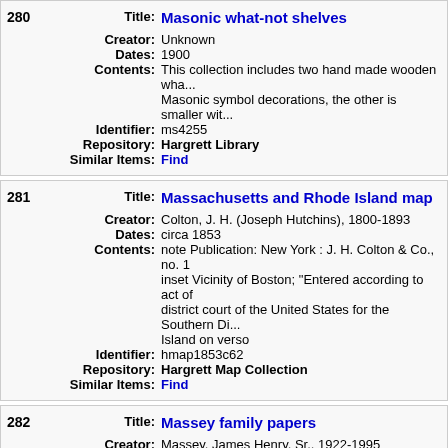280 Title: Masonic what-not shelves
Creator: Unknown
Dates: 1900
Contents: This collection includes two hand made wooden wha... Masonic symbol decorations, the other is smaller wit...
Identifier: ms4255
Repository: Hargrett Library
Similar Items: Find
281 Title: Massachusetts and Rhode Island map
Creator: Colton, J. H. (Joseph Hutchins), 1800-1893
Dates: circa 1853
Contents: note Publication: New York : J. H. Colton & Co., no. 1 inset Vicinity of Boston; "Entered according to act of district court of the United States for the Southern Di... Island on verso
Identifier: hmap1853c62
Repository: Hargrett Map Collection
Similar Items: Find
282 Title: Massey family papers
Creator: Massey, James Henry, Sr., 1922-1995